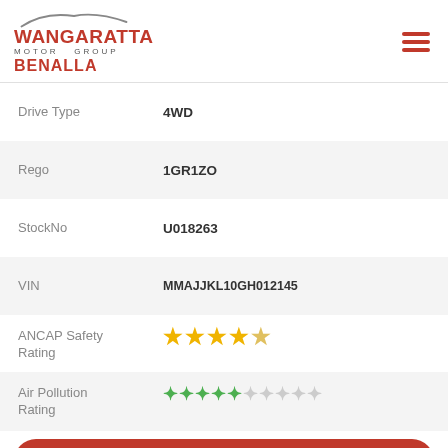[Figure (logo): Wangaratta Motor Group Benalla logo with car silhouette]
| Field | Value |
| --- | --- |
| Drive Type | 4WD |
| Rego | 1GR1ZO |
| StockNo | U018263 |
| VIN | MMAJJKL10GH012145 |
| ANCAP Safety Rating | 4 stars |
| Air Pollution Rating | 5 out of 10 leaves |
CONTACT US
FINANCE THIS VEHICLE